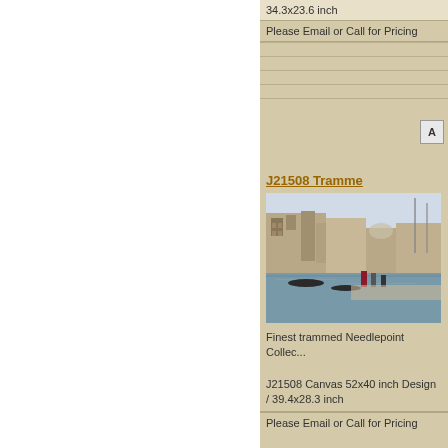34.3x23.6 inch
Please Email or Call for Pricing
J21508 Tramme
[Figure (illustration): Painting of Venice Grand Canal scene with buildings, gondolas, and figures in period costume]
Finest trammed Needlepoint Collec...
J21508 Canvas 52x40 inch Design / 39.4x28.3 inch
Please Email or Call for Pricing